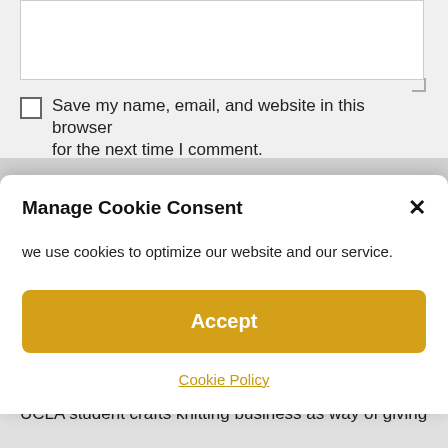[Figure (screenshot): A textarea (comment input box) with resize handle visible in a web form on a light gray background.]
Save my name, email, and website in this browser for the next time I comment.
Manage Cookie Consent
we use cookies to optimize our website and our service.
Accept
Cookie Policy
Recent Posts
UCLA student crafts knitting business as way of giving